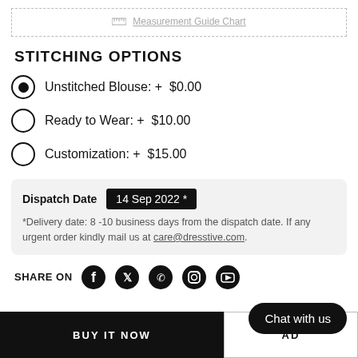[Figure (other): Measurement Guide Chart link with ruler icon inside dashed border box]
STITCHING OPTIONS
Unstitched Blouse: +  $0.00 (selected radio button)
Ready to Wear: +  $10.00
Customization: +  $15.00
Dispatch Date  14 Sep 2022 *
*Delivery date: 8 -10 business days from the dispatch date. If any urgent order kindly mail us at care@dresstive.com.
SHARE ON [Facebook] [Twitter] [WhatsApp] [Instagram] [YouTube]
BUY IT NOW   ADD   Chat with us